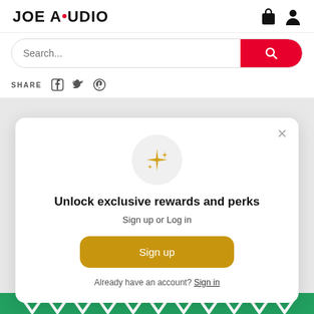JOE AUDIO
[Figure (screenshot): Search bar with red search button]
SHARE
[Figure (screenshot): Modal popup: Unlock exclusive rewards and perks. Sign up or Log in. Sign up button. Already have an account? Sign in.]
Unlock exclusive rewards and perks
Sign up or Log in
Sign up
Already have an account? Sign in